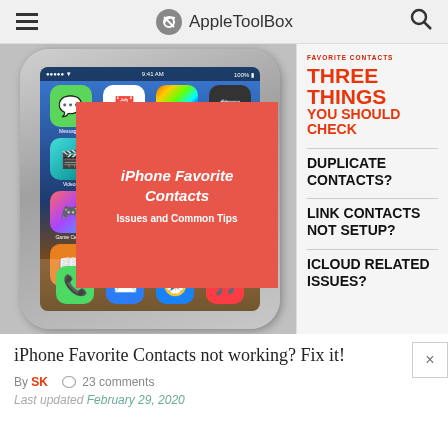AppleToolBox
[Figure (screenshot): iPhone showing home screen with app icons. Red overlay box reads 'iPhone Favorite Contacts — Issues and Common Tips'. Right panel shows 'FAVORITE CONTACTS — THREE THINGS YOU SHOULD CHECK' in red, with black bold items: DUPLICATE CONTACTS?, LINK CONTACTS NOT SETUP?, ICLOUD RELATED ISSUES?]
iPhone Favorite Contacts not working? Fix it!
By SK   23 comments
Last updated February 29, 2020